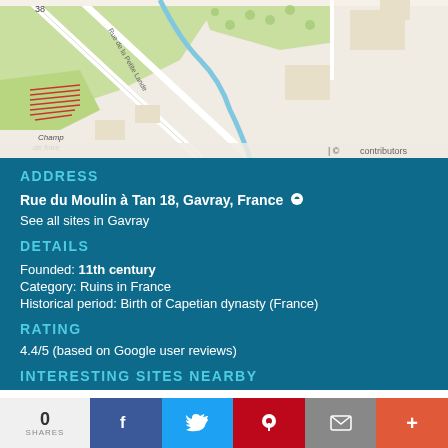[Figure (map): Street map showing area around Rue du Moulin à Tan 18, Gavray, France. Shows Champ de foire, Rue de la Petite Lande, and surrounding streets. Copyright notice for contributors visible.]
ADDRESS
Rue du Moulin à Tan 18, Gavray, France
See all sites in Gavray
DETAILS
Founded: 11th century
Category: Ruins in France
Historical period: Birth of Capetian dynasty (France)
RATING
4.4/5 (based on Google user reviews)
INTERESTING SITES NEARBY
0 SHARES | Facebook | Twitter | Pinterest | Email | More